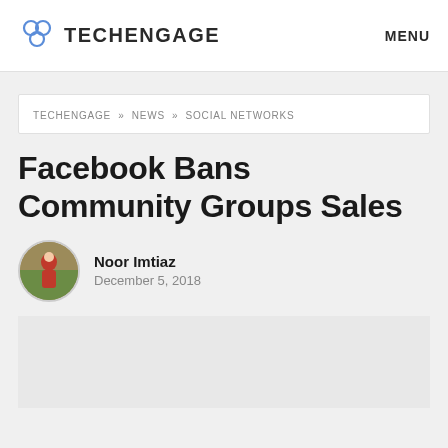TECHENGAGE   MENU
TECHENGAGE » NEWS » SOCIAL NETWORKS
Facebook Bans Community Groups Sales
Noor Imtiaz
December 5, 2018
[Figure (photo): Featured article image placeholder (light gray rectangle)]